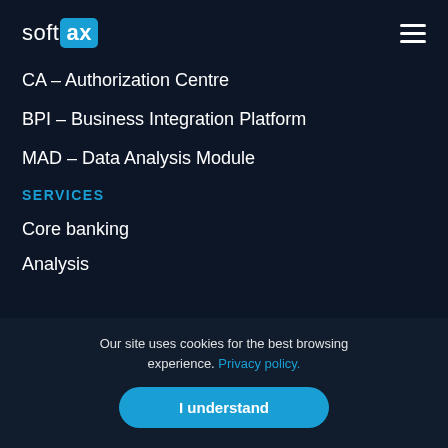softax
CA – Authorization Centre
BPI – Business Integration Platform
MAD – Data Analysis Module
SERVICES
Core banking
Analysis
Our site uses cookies for the best browsing experience. Privacy policy.